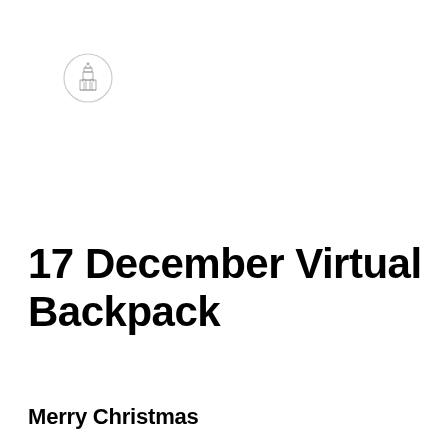[Figure (logo): Small circular logo/emblem with a snowflake or ornament-like design, outline style, positioned top-left area]
17 December Virtual Backpack
Merry Christmas